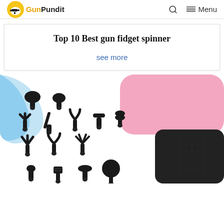GunPundit — Search — Menu
Top 10 Best gun fidget spinner
see more
[Figure (photo): Pink and black massage gun with multiple black attachment heads displayed in front of it, showing various tip shapes including round, flat, fork, cone, and multi-pronged heads.]